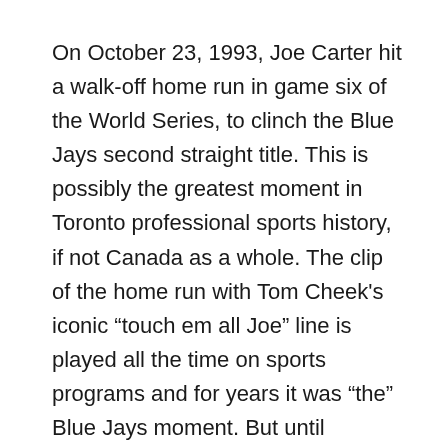On October 23, 1993, Joe Carter hit a walk-off home run in game six of the World Series, to clinch the Blue Jays second straight title. This is possibly the greatest moment in Toronto professional sports history, if not Canada as a whole. The clip of the home run with Tom Cheek's iconic “touch em all Joe” line is played all the time on sports programs and for years it was “the” Blue Jays moment. But until recently, there was always this weird feeling I had watching it. As exciting it was to see how great the Jays used to be, these weren't the Jays me and anyone born after 1993 knew.